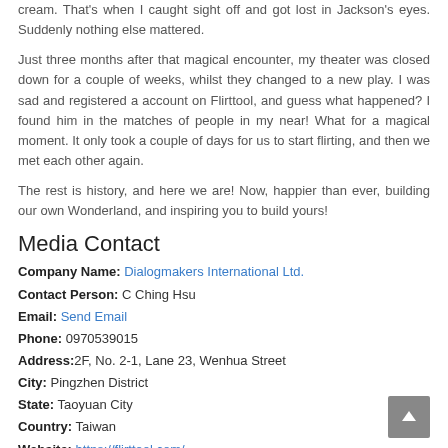cream. That's when I caught sight off and got lost in Jackson's eyes. Suddenly nothing else mattered.
Just three months after that magical encounter, my theater was closed down for a couple of weeks, whilst they changed to a new play. I was sad and registered a account on Flirttool, and guess what happened? I found him in the matches of people in my near! What for a magical moment. It only took a couple of days for us to start flirting, and then we met each other again.
The rest is history, and here we are! Now, happier than ever, building our own Wonderland, and inspiring you to build yours!
Media Contact
Company Name: Dialogmakers International Ltd.
Contact Person: C Ching Hsu
Email: Send Email
Phone: 0970539015
Address: 2F, No. 2-1, Lane 23, Wenhua Street
City: Pingzhen District
State: Taoyuan City
Country: Taiwan
Website: https://flirttool.com/